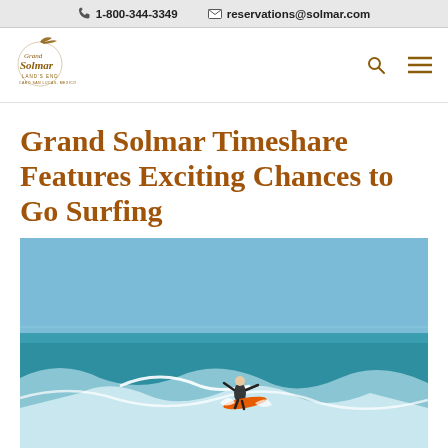1-800-344-3349   reservations@solmar.com
[Figure (logo): Grand Solmar Land's End logo — cursive script with bird silhouette]
Grand Solmar Timeshare Features Exciting Chances to Go Surfing
[Figure (photo): Surfer riding a wave on a bright blue-green ocean, wearing a dark wetsuit and riding an orange surfboard, with white water spray around them and a clear blue sky in the background]